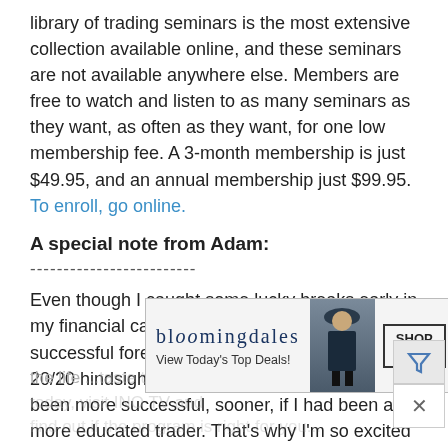library of trading seminars is the most extensive collection available online, and these seminars are not available anywhere else. Members are free to watch and listen to as many seminars as they want, as often as they want, for one low membership fee. A 3-month membership is just $49.95, and an annual membership just $99.95. To enroll, go online.
A special note from Adam:
-------------------------
Even though I caught some lucky breaks early in my financial career and went on to become a successful forex trader, I still look back with 20/20 hindsight and realize that I could have been more successful, sooner, if I had been a more educated trader. That's why I'm so excited about what we have to offer at INO TV: proven trading techniques - practical tools for consistent success - step by step trading methods...
[Figure (photo): Bloomingdale's advertisement banner with model in large hat and 'SHOP NOW >' button]